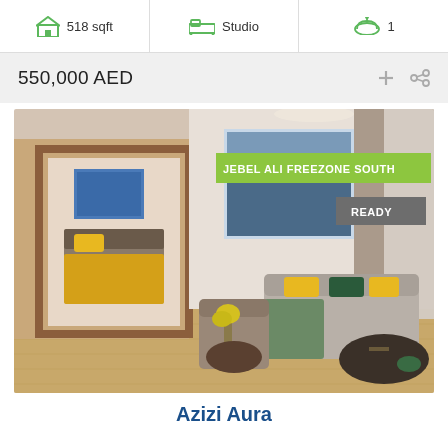518 sqft | Studio | 1
550,000 AED
[Figure (photo): Interior photo of a furnished apartment living room with a bedroom visible through an open door. Shows sofa, decorative cushions, artwork on wall, curtains, coffee table, and hardwood flooring. Labels: JEBEL ALI FREEZONE SOUTH (green badge), READY (grey badge).]
Azizi Aura